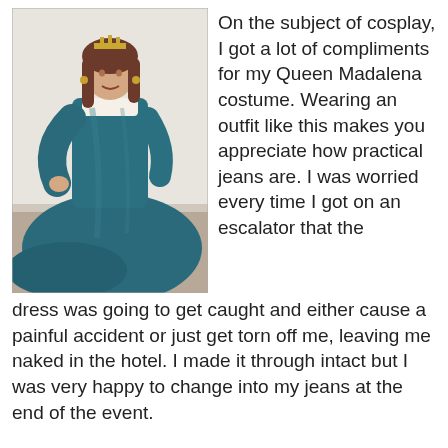[Figure (photo): Woman in a long teal/blue medieval-style queen dress with long sleeves and a square neckline, wearing a small crown, standing indoors with the dress trailing on the floor.]
On the subject of cosplay, I got a lot of compliments for my Queen Madalena costume. Wearing an outfit like this makes you appreciate how practical jeans are. I was worried every time I got on an escalator that the dress was going to get caught and either cause a painful accident or just get torn off me, leaving me naked in the hotel. I made it through intact but I was very happy to change into my jeans at the end of the event.